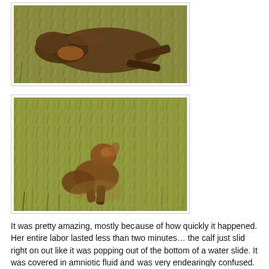[Figure (photo): Photo of a large animal (wildebeest or similar) lying on its side in dry grass, appearing to be giving birth or recently having given birth]
[Figure (photo): Photo of a newborn calf sitting up in grass, wet and covered in amniotic fluid, looking around with confusion]
It was pretty amazing, mostly because of how quickly it happened. Her entire labor lasted less than two minutes… the calf just slid right on out like it was popping out of the bottom of a water slide. It was covered in amniotic fluid and was very endearingly confused. Interestingly, though, the